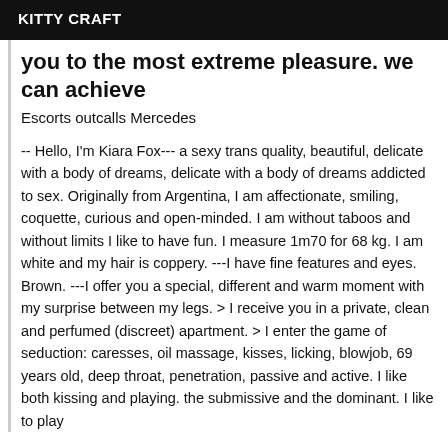KITTY CRAFT
you to the most extreme pleasure. we can achieve
Escorts outcalls Mercedes
-- Hello, I'm Kiara Fox--- a sexy trans quality, beautiful, delicate with a body of dreams, delicate with a body of dreams addicted to sex. Originally from Argentina, I am affectionate, smiling, coquette, curious and open-minded. I am without taboos and without limits I like to have fun. I measure 1m70 for 68 kg. I am white and my hair is coppery. ---I have fine features and eyes. Brown. ---I offer you a special, different and warm moment with my surprise between my legs. > I receive you in a private, clean and perfumed (discreet) apartment. > I enter the game of seduction: caresses, oil massage, kisses, licking, blowjob, 69 years old, deep throat, penetration, passive and active. I like both kissing and playing. the submissive and the dominant. I like to play